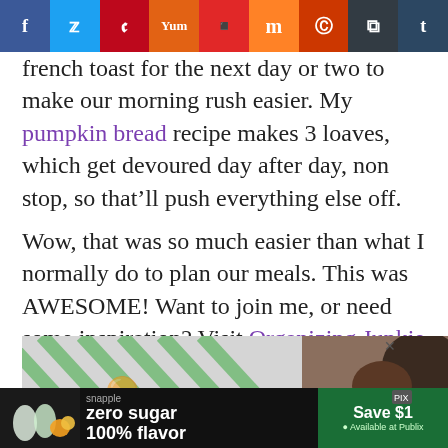[Figure (screenshot): Social media share bar with icons for Facebook, Twitter, Pinterest, Yummly, Flipboard, Mix, Reddit, Buffer, Tumblr]
french toast for the next day or two to make our morning rush easier. My pumpkin bread recipe makes 3 loaves, which get devoured day after day, non stop, so that’ll push everything else off.
Wow, that was so much easier than what I normally do to plan our meals. This was AWESOME! Want to join me, or need some inspiration? Visit Organizing Junkie (my new secret obsession) for almost 500 menu plans each week.
[Figure (screenshot): Partial screenshot of an article image with green diagonal stripes and a person's head visible, with a close X button]
[Figure (screenshot): Advertisement banner: Snapple zero sugar 100% flavor, Save $1, Available at Publix]